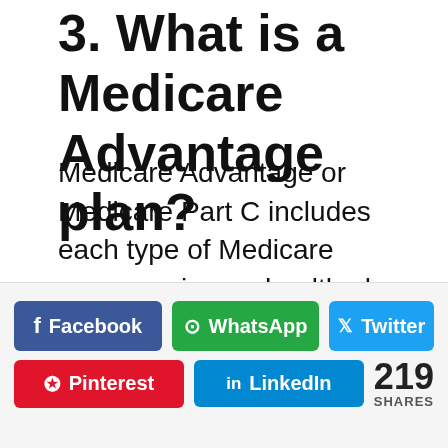3. What is a Medicare Advantage plan?
Medicare Advantage or Medicare Part C includes each type of Medicare coverage in one health plan, offered by private insurance companies. Medicare Advantage is an alternative Original Medicare but to buy it you must have Original Medicare Part A and B and may need to continue paying for Part B with a Medicare Advantage plan. With Medicare Advantage, you'll have additional benefits and coverage, like eye exams…
[Figure (infographic): Social sharing buttons: Facebook, WhatsApp, Twitter (row 1); Pinterest, LinkedIn, 219 SHARES (row 2)]